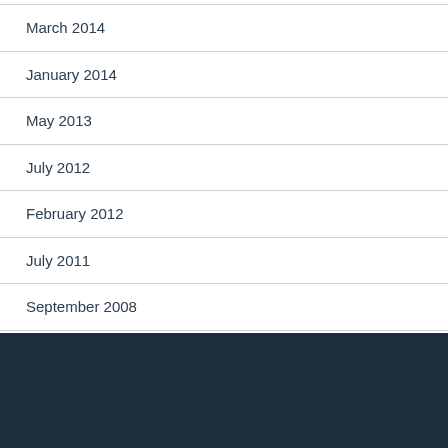March 2014
January 2014
May 2013
July 2012
February 2012
July 2011
September 2008